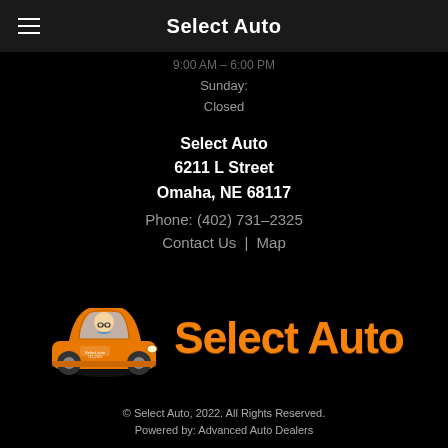Select Auto
Sunday:
Closed
Select Auto
6211 L Street
Omaha, NE 68117
Phone: (402) 731-2325
Contact Us | Map
[Figure (logo): Select Auto logo: orange cartoon car with bald man driver, with 'Select Auto' in large orange bold text beside it]
© Select Auto, 2022. All Rights Reserved.
Powered by: Advanced Auto Dealers